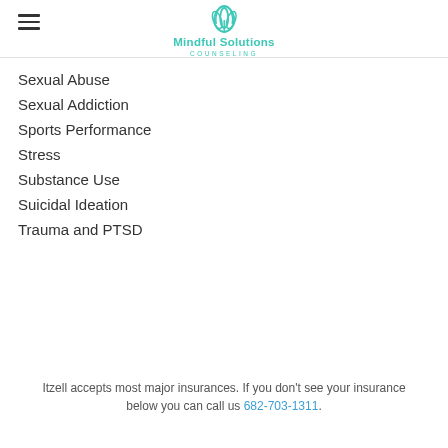Mindful Solutions Counseling
Sexual Abuse
Sexual Addiction
Sports Performance
Stress
Substance Use
Suicidal Ideation
Trauma and PTSD
Itzell accepts most major insurances. If you don't see your insurance below you can call us 682-703-1311.